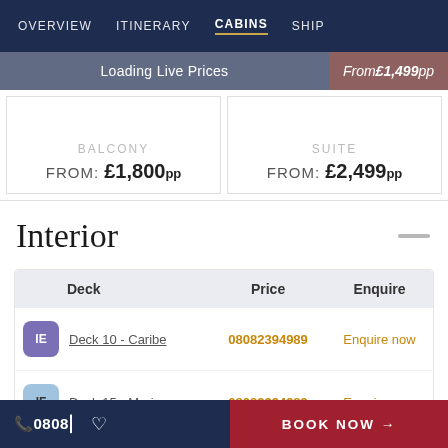OVERVIEW  ITINERARY  CABINS  SHIP
Loading Live Prices
From £1,499pp
BALCONY
FROM: £1,800pp
SUITE
FROM: £2,499pp
Interior
| Deck | Price | Enquire |
| --- | --- | --- |
| IE  Deck 10 - Caribe | 08082394989 | Enquire now |
| IF  Deck 15 - Marina | 08082394989 | Enquire now |
0808|  ♡  BOOK NOW →